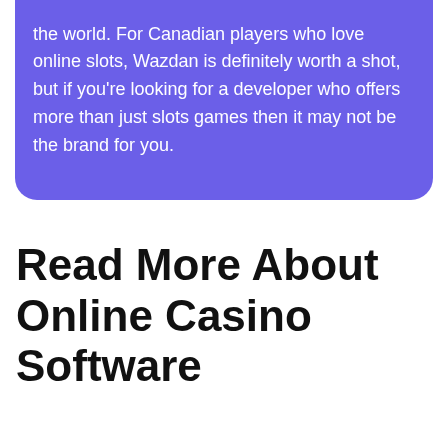the world. For Canadian players who love online slots, Wazdan is definitely worth a shot, but if you're looking for a developer who offers more than just slots games then it may not be the brand for you.
Read More About Online Casino Software